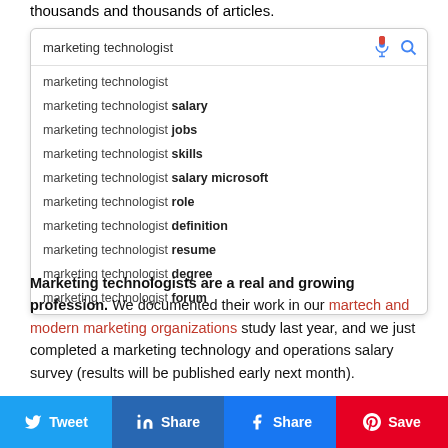thousands and thousands of articles.
[Figure (screenshot): Google search autocomplete suggestions for 'marketing technologist' showing: marketing technologist, marketing technologist salary, marketing technologist jobs, marketing technologist skills, marketing technologist salary microsoft, marketing technologist role, marketing technologist definition, marketing technologist resume, marketing technologist degree, marketing technologist forum]
Marketing technologists are a real and growing profession. We documented their work in our martech and modern marketing organizations study last year, and we just completed a marketing technology and operations salary survey (results will be published early next month).
Championing this profession from its inception to its
[Figure (other): Social share bar with Twitter, LinkedIn, Facebook, and Pinterest buttons]